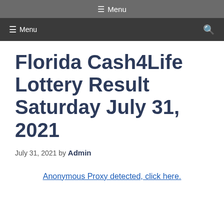☰ Menu
☰ Menu  🔍
Florida Cash4Life Lottery Result Saturday July 31, 2021
July 31, 2021 by Admin
Anonymous Proxy detected, click here.